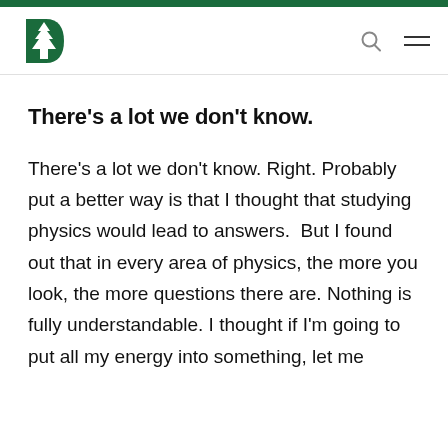Dartmouth College website header with logo, search icon, and menu icon
There’s a lot we don’t know.
There’s a lot we don’t know. Right. Probably put a better way is that I thought that studying physics would lead to answers.  But I found out that in every area of physics, the more you look, the more questions there are. Nothing is fully understandable. I thought if I’m going to put all my energy into something, let me